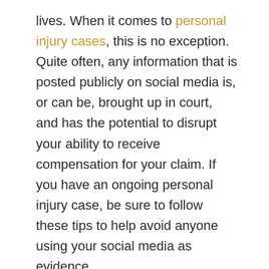lives. When it comes to personal injury cases, this is no exception. Quite often, any information that is posted publicly on social media is, or can be, brought up in court, and has the potential to disrupt your ability to receive compensation for your claim. If you have an ongoing personal injury case, be sure to follow these tips to help avoid anyone using your social media as evidence.
Step 1: Don't post information about your injuries.
We all like to give people the scoop, spill the tea, spread the word, or whatever you want to call it. However, sharing information